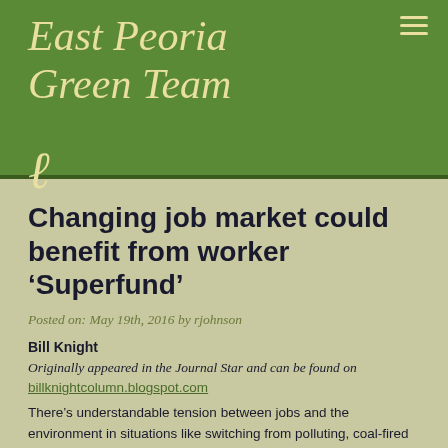East Peoria Green Team
Changing job market could benefit from worker ‘Superfund’
Posted on: May 19th, 2016 by rjohnson
Bill Knight
Originally appeared in the Journal Star and can be found on billknightcolumn.blogspot.com
There’s understandable tension between jobs and the environment in situations like switching from polluting, coal-fired power plants, fracking, and the Keystone XL pipeline. Changes can mean jobs lost – and also jobs gained.
Some say it’s time for an effective transition program for workers displaced by innovation, and it’s an old idea that could also apply to